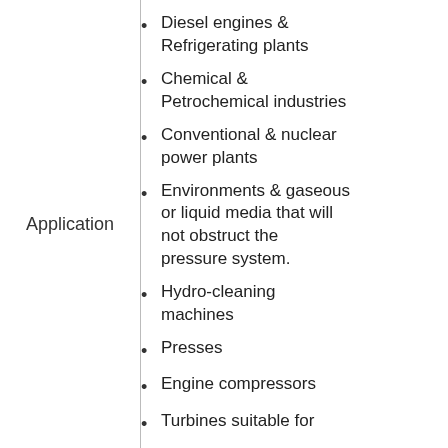Application
Diesel engines & Refrigerating plants
Chemical & Petrochemical industries
Conventional & nuclear power plants
Environments & gaseous or liquid media that will not obstruct the pressure system.
Hydro-cleaning machines
Presses
Engine compressors
Turbines suitable for